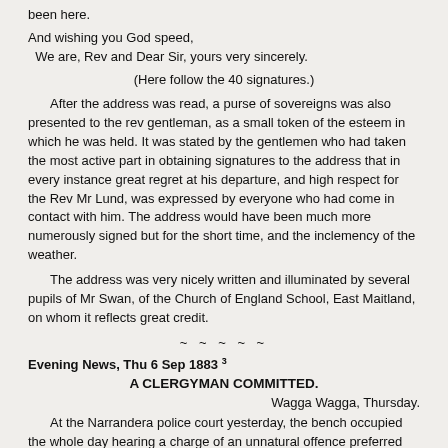been here.
And wishing you God speed,
We are, Rev and Dear Sir, yours very sincerely.
(Here follow the 40 signatures.)
After the address was read, a purse of sovereigns was also presented to the rev gentleman, as a small token of the esteem in which he was held. It was stated by the gentlemen who had taken the most active part in obtaining signatures to the address that in every instance great regret at his departure, and high respect for the Rev Mr Lund, was expressed by everyone who had come in contact with him. The address would have been much more numerously signed but for the short time, and the inclemency of the weather.
The address was very nicely written and illuminated by several pupils of Mr Swan, of the Church of England School, East Maitland, on whom it reflects great credit.
~ ~ ~ ~ ~
Evening News, Thu 6 Sep 1883
A CLERGYMAN COMMITTED.
Wagga Wagga, Thursday.
At the Narrandera police court yesterday, the bench occupied the whole day hearing a charge of an unnatural offence preferred against the Rev Mr Lund, a Church of England clergyman, by a man named Henry Furber, who was recently employed by the defendant as a groom. At the conclusion of the case, the defendant was committed for trial.
Narrandera, Thursday.